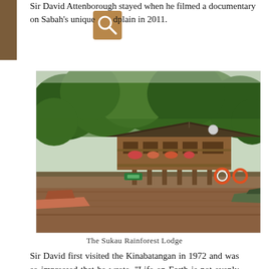Sir David Attenborough stayed when he filmed a documentary on Sabah's unique floodplain in 2011.
[Figure (photo): A wooden lodge building on stilts over a brown river, surrounded by dense rainforest trees. Boats are moored at the dock in front. The building has a dark roof, wrap-around balcony with flowers, and multiple levels.]
The Sukau Rainforest Lodge
Sir David first visited the Kinabatangan in 1972 and was so impressed that he wrote, "Life on Earth is not evenly spread around our planet. Borneo – the world's third largest island – is one of its richest treasure houses, full of an immense variety of wild animals and plants, all living in a magnificent tropical